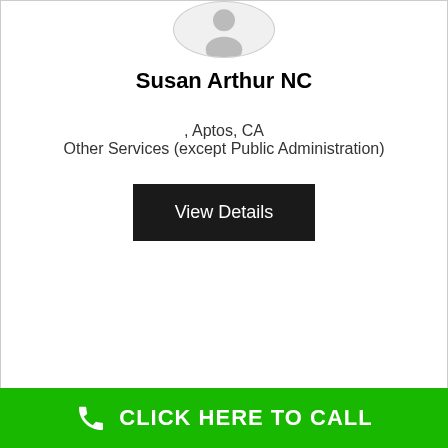[Figure (illustration): Circular avatar placeholder icon showing a generic person silhouette in gray on a light background]
Susan Arthur NC
, Aptos, CA
Other Services (except Public Administration)
View Details
Pest Control Aptos, CA California 95003
Ants exterminator removal
CLICK HERE TO CALL